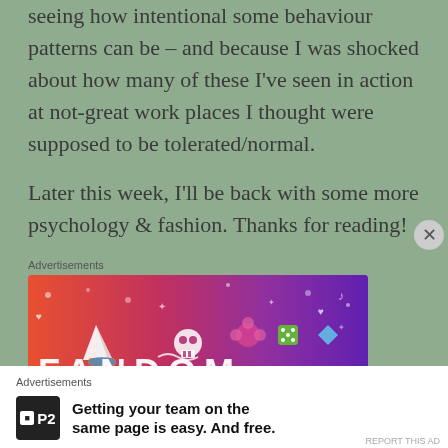seeing how intentional some behaviour patterns can be – and because I was shocked about how many of these I've seen in action at not-great work places I thought were supposed to be tolerated/normal.
Later this week, I'll be back with some more psychology & fashion. Thanks for reading!
Advertisements
[Figure (illustration): Fandom advertisement banner with colorful gradient background (orange to purple), featuring a sailboat sticker, skull, flowers, dice, and the text FANDOM at the bottom]
Advertisements
[Figure (logo): P2 logo in black square]
Getting your team on the same page is easy. And free.